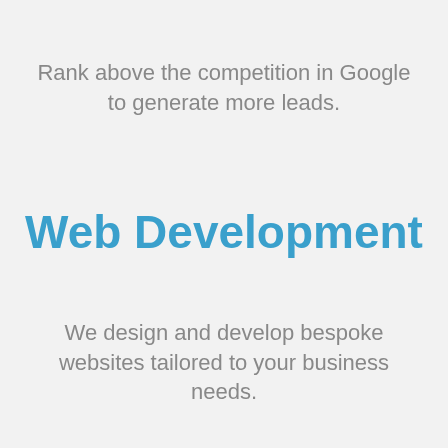Rank above the competition in Google to generate more leads.
Web Development
We design and develop bespoke websites tailored to your business needs.